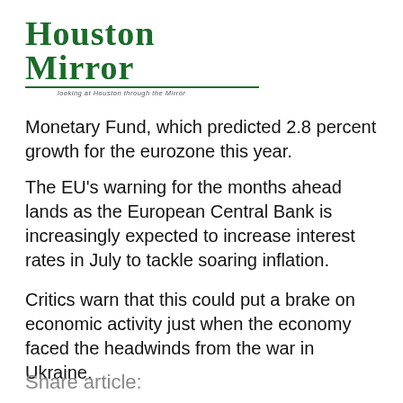Houston Mirror — Looking at Houston through the Mirror
Monetary Fund, which predicted 2.8 percent growth for the eurozone this year.
The EU's warning for the months ahead lands as the European Central Bank is increasingly expected to increase interest rates in July to tackle soaring inflation.
Critics warn that this could put a brake on economic activity just when the economy faced the headwinds from the war in Ukraine.
Share article: